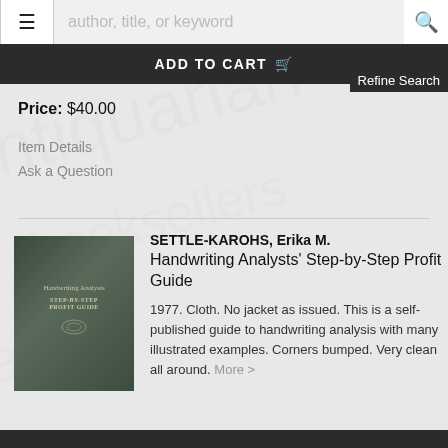≡  author, title, or keyword  🔍
ADD TO CART 🛒
Refine Search
Price: $40.00
Item Details
Ask a Question
[Figure (photo): Book cover of Handwriting Analysts' Step-by-Step Profit Guide, dark green/teal cloth cover]
SETTLE-KAROHS, Erika M.
Handwriting Analysts' Step-by-Step Profit Guide

1977. Cloth. No jacket as issued. This is a self-published guide to handwriting analysis with many illustrated examples. Corners bumped. Very clean all around. More >